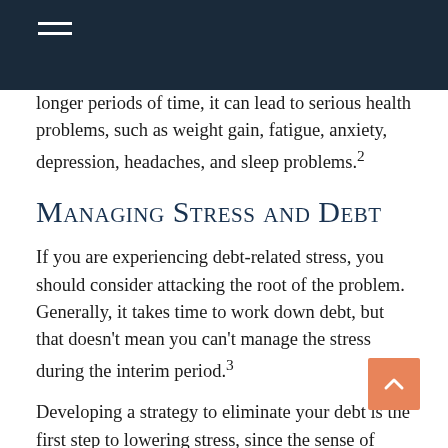longer periods of time, it can lead to serious health problems, such as weight gain, fatigue, anxiety, depression, headaches, and sleep problems.²
Managing Stress and Debt
If you are experiencing debt-related stress, you should consider attacking the root of the problem. Generally, it takes time to work down debt, but that doesn't mean you can't manage the stress during the interim period.³
Developing a strategy to eliminate your debt is the first step to lowering stress, since the sense of control that a strategy gives you might furnish you with hope and optimism.
It's also important that you keep your debt worries in perspective. Remind yourself that debt may not permanently